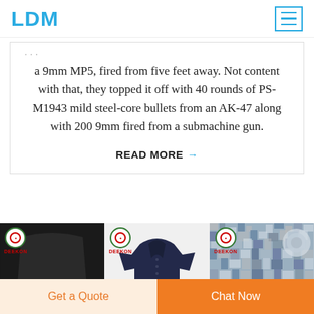LDM
a 9mm MP5, fired from five feet away. Not content with that, they topped it off with 40 rounds of PS-M1943 mild steel-core bullets from an AK-47 along with 200 9mm fired from a submachine gun.
READ MORE →
[Figure (photo): Three product images: a black ballistic plate labeled STRIKE FACE, a navy polo shirt, and a digital camouflage fabric pattern. Each has a DEEKON logo badge in the top left corner.]
Get a Quote
Chat Now